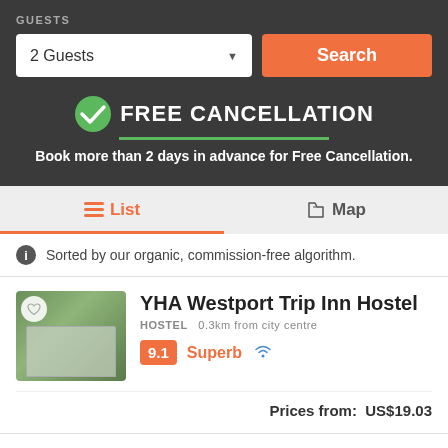GUESTS
2 Guests
Search
FREE CANCELLATION
Book more than 2 days in advance for Free Cancellation.
List
Map
Sorted by our organic, commission-free algorithm.
YHA Westport Trip Inn Hostel
HOSTEL  0.3km from city centre
9.1  Superb
Prices from:  US$19.03
Bazils hostel & Surf school